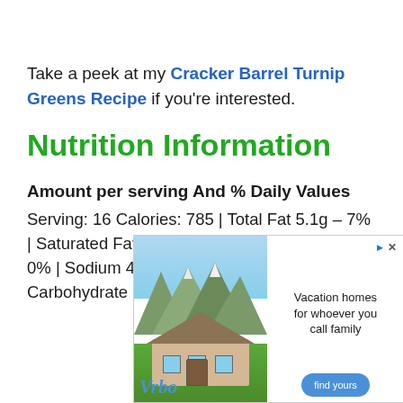Take a peek at my Cracker Barrel Turnip Greens Recipe if you're interested.
Nutrition Information
Amount per serving And % Daily Values
Serving: 16 Calories: 785 | Total Fat 5.1g – 7% | Saturated Fat 1.1g – 5% | Cholesterol 0mg – 0% | Sodium 402mg – 17% | Total Carbohydrate 140.7g – 51% | Dietary Fiber
[Figure (other): Advertisement banner for Vrbo vacation rental service, showing a mountain house photo with text 'Vacation homes for whoever you call family' and a 'find yours' button]